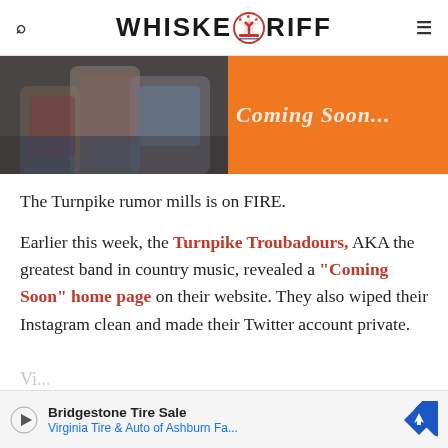WHISKEYRIFF
[Figure (photo): Banner image: left half shows people standing (country music scene), right half is orange with 'Coming Soon...' text in italic white]
The Turnpike rumor mills is on FIRE.
Earlier this week, the Turnpike Troubadours, AKA the greatest band in country music, revealed a "Coming Soon" home page on their website. They also wiped their Instagram clean and made their Twitter account private.
Bridgestone Tire Sale
Virginia Tire & Auto of Ashburn Fa...